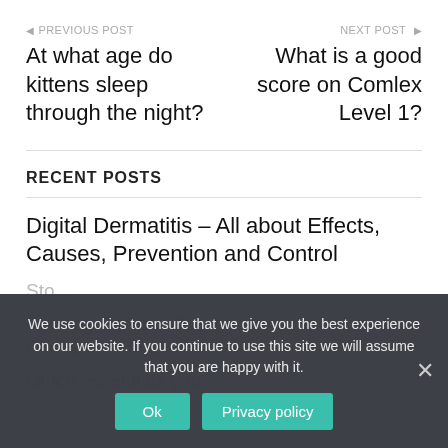◀ PREVIOUS POST
At what age do kittens sleep through the night?
NEXT POST ▶
What is a good score on Comlex Level 1?
RECENT POSTS
Digital Dermatitis – All about Effects, Causes, Prevention and Control
Sto…
Packing Survival Backpa… …ite Phone in Your List
Office essentials you…
We use cookies to ensure that we give you the best experience on our website. If you continue to use this site we will assume that you are happy with it.
Ok
Privacy policy